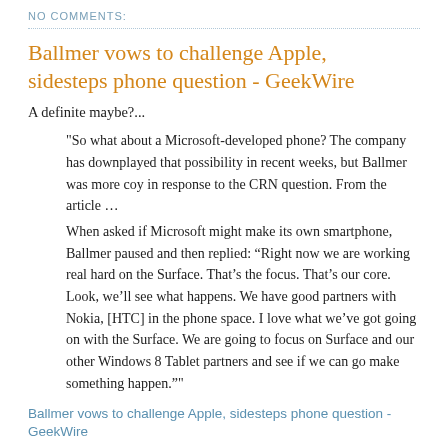NO COMMENTS:
Ballmer vows to challenge Apple, sidesteps phone question - GeekWire
A definite maybe?...
"So what about a Microsoft-developed phone? The company has downplayed that possibility in recent weeks, but Ballmer was more coy in response to the CRN question. From the article …
When asked if Microsoft might make its own smartphone, Ballmer paused and then replied: “Right now we are working real hard on the Surface. That’s the focus. That’s our core. Look, we’ll see what happens. We have good partners with Nokia, [HTC] in the phone space. I love what we’ve got going on with the Surface. We are going to focus on Surface and our other Windows 8 Tablet partners and see if we can go make something happen.”"
Ballmer vows to challenge Apple, sidesteps phone question - GeekWire